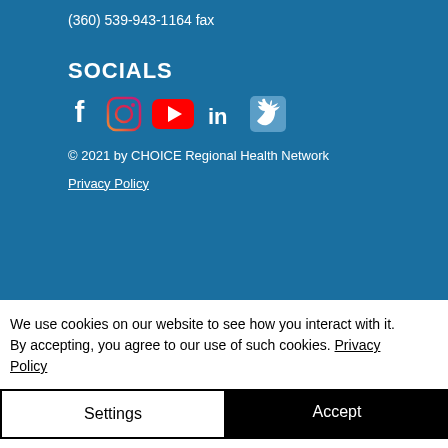(360) 539-943-1164 fax
SOCIALS
[Figure (other): Social media icons: Facebook, Instagram, YouTube, LinkedIn, Twitter]
© 2021 by CHOICE Regional Health Network
Privacy Policy
We use cookies on our website to see how you interact with it. By accepting, you agree to our use of such cookies. Privacy Policy
Settings
Accept